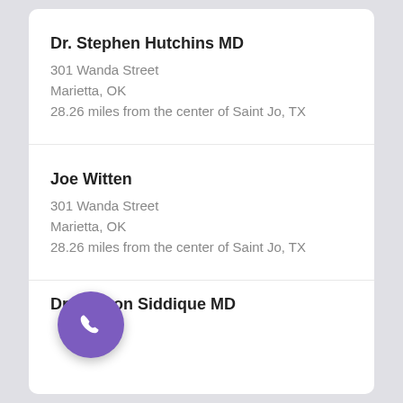Dr. Stephen Hutchins MD
301 Wanda Street
Marietta, OK
28.26 miles from the center of Saint Jo, TX
Joe Witten
301 Wanda Street
Marietta, OK
28.26 miles from the center of Saint Jo, TX
[Figure (illustration): Purple circular phone button with white phone handset icon]
Dr. Haroon Siddique MD